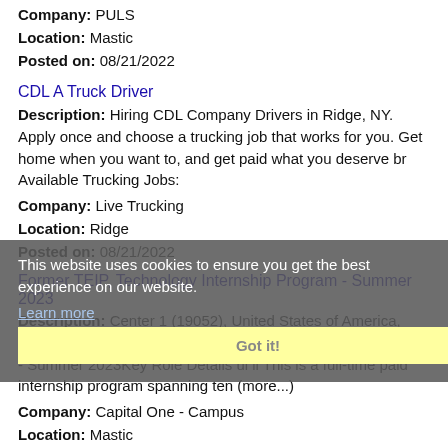Company: PULS
Location: Mastic
Posted on: 08/21/2022
CDL A Truck Driver
Description: Hiring CDL Company Drivers in Ridge, NY. Apply once and choose a trucking job that works for you. Get home when you want to, and get paid what you deserve br Available Trucking Jobs:
Company: Live Trucking
Location: Ridge
Posted on: 08/21/2022
Former TEIP, Technology Internship Program - Summer 2023
Description: Center 1 (19052), United States of America, McLean, VirginiaFormer TEIP, Technology Internship Program - Summer 2023Key Role Details ul li This is a full-time paid internship program spanning ten (more...)
Company: Capital One - Campus
Location: Mastic
Posted on: 08/21/2022
This website uses cookies to ensure you get the best experience on our website.
Learn more
Got it!
Tax Associate - Work from Home
Description: